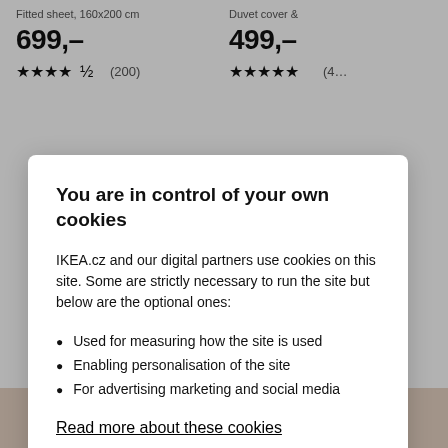Fitted sheet, 160x200 cm
699,-
★★★★½ (200)
Duvet cover &…
499,-
★★★★★ (4…)
You are in control of your own cookies
IKEA.cz and our digital partners use cookies on this site. Some are strictly necessary to run the site but below are the optional ones:
Used for measuring how the site is used
Enabling personalisation of the site
For advertising marketing and social media
Read more about these cookies
Accept All Cookies
Cookies Settings